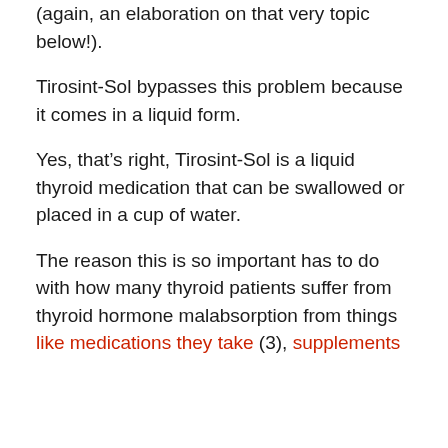(again, an elaboration on that very topic below!).
Tirosint-Sol bypasses this problem because it comes in a liquid form.
Yes, that’s right, Tirosint-Sol is a liquid thyroid medication that can be swallowed or placed in a cup of water.
The reason this is so important has to do with how many thyroid patients suffer from thyroid hormone malabsorption from things like medications they take (3), supplements